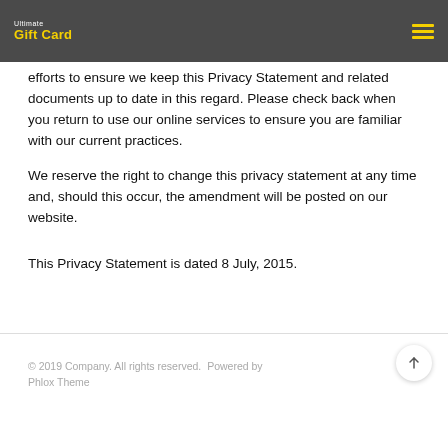Ultimate Gift Card
efforts to ensure we keep this Privacy Statement and related documents up to date in this regard. Please check back when you return to use our online services to ensure you are familiar with our current practices.
We reserve the right to change this privacy statement at any time and, should this occur, the amendment will be posted on our website.
This Privacy Statement is dated 8 July, 2015.
© 2019 Company. All rights reserved.  Powered by Phlox Theme